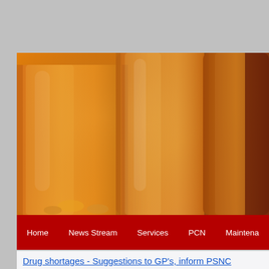[Figure (photo): Close-up photo of amber/orange colored glass medicine bottles or vials with blurred background]
Home   News Stream   Services   PCN   Maintena...
Drug shortages - Suggestions to GP's, inform PSNC
23/7/2018